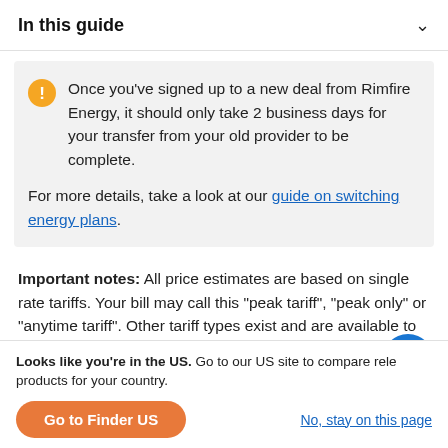In this guide
Once you've signed up to a new deal from Rimfire Energy, it should only take 2 business days for your transfer from your old provider to be complete.
For more details, take a look at our guide on switching energy plans.
Important notes: All price estimates are based on single rate tariffs. Your bill may call this "peak tariff", "peak only" or "anytime tariff". Other tariff types exist and are available to customers, so you may need to contact your provider if you
Looks like you're in the US. Go to our US site to compare relevant products for your country.